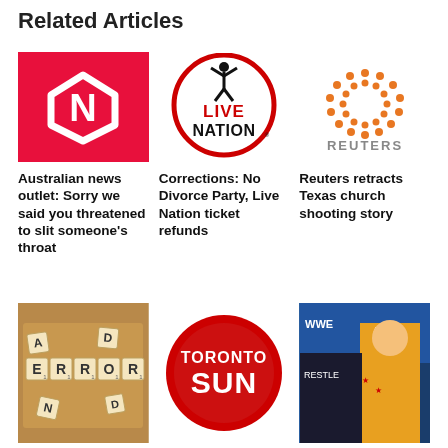Related Articles
[Figure (logo): Newsy logo - red background with white N diamond shape]
[Figure (logo): Live Nation logo - red circle outline with person figure and LIVE NATION text]
[Figure (logo): Reuters logo - orange dot pattern circle and REUTERS text]
Australian news outlet: Sorry we said you threatened to slit someone's throat
Corrections: No Divorce Party, Live Nation ticket refunds
Reuters retracts Texas church shooting story
[Figure (photo): Scrabble tiles spelling ERROR]
[Figure (logo): Toronto Sun logo - red circle with TORONTO SUN text]
[Figure (photo): WrestleMania photo with wrestler in yellow outfit]